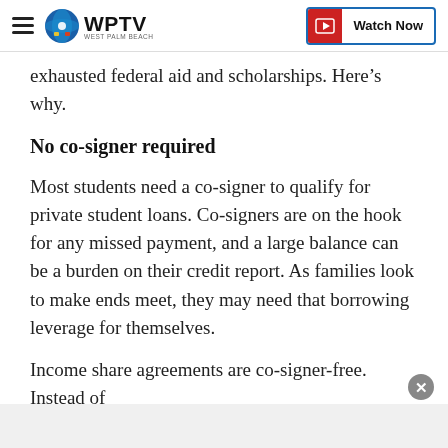WPTV Watch Now
exhausted federal aid and scholarships. Here’s why.
No co-signer required
Most students need a co-signer to qualify for private student loans. Co-signers are on the hook for any missed payment, and a large balance can be a burden on their credit report. As families look to make ends meet, they may need that borrowing leverage for themselves.
Income share agreements are co-signer-free. Instead of